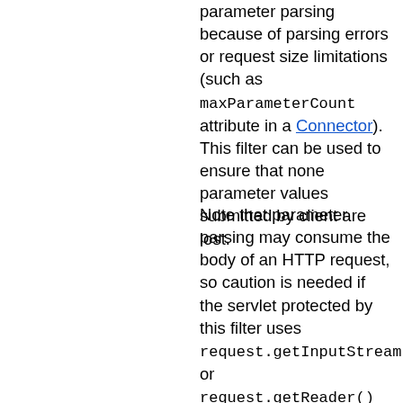parameter parsing because of parsing errors or request size limitations (such as maxParameterCount attribute in a Connector). This filter can be used to ensure that none parameter values submitted by client are lost.
Note that parameter parsing may consume the body of an HTTP request, so caution is needed if the servlet protected by this filter uses request.getInputStream() or request.getReader() calls. In general the risk of breaking a web application by adding this filter is not so high, because parameter parsing does check content type of the request before consuming the request